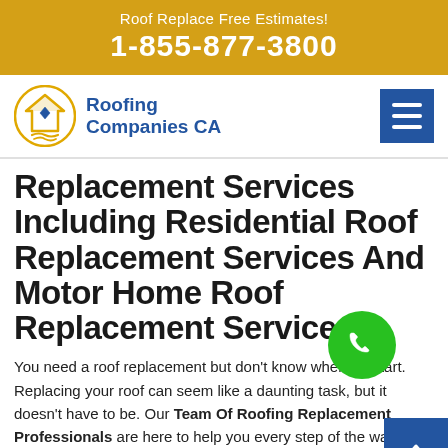Roof Replace Free Estimates!
1-855-877-3800
[Figure (logo): Roofing Companies CA logo — circular emblem with house/roof shape in gold and blue, with text 'Roofing Companies CA' in blue]
Replacement Services Including Residential Roof Replacement Services And Motor Home Roof Replacement Services.
You need a roof replacement but don't know where to start. Replacing your roof can seem like a daunting task, but it doesn't have to be. Our Team Of Roofing Replacement Professionals are here to help you every step of the way. We offer a